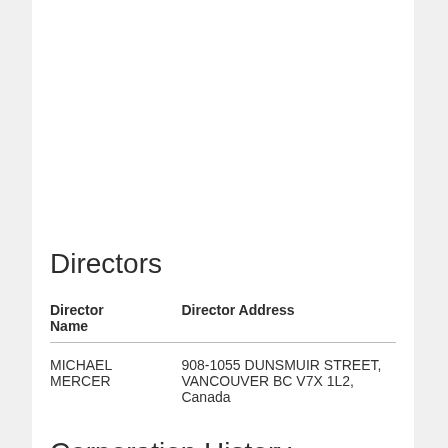Directors
| Director Name | Director Address |
| --- | --- |
| MICHAEL MERCER | 908-1055 DUNSMUIR STREET, VANCOUVER BC V7X 1L2, Canada |
Corporation History